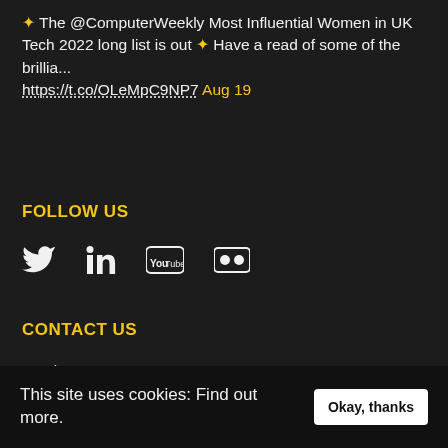✨ The @ComputerWeekly Most Influential Women in UK Tech 2022 long list is out ✨ Have a read of some of the brillia... https://t.co/OLeMpC9NP7 Aug 19
FOLLOW US
[Figure (illustration): Social media icons: Twitter, LinkedIn, YouTube, Flickr]
CONTACT US
Send us a message
Privacy & cookie policy
This site uses cookies: Find out more.